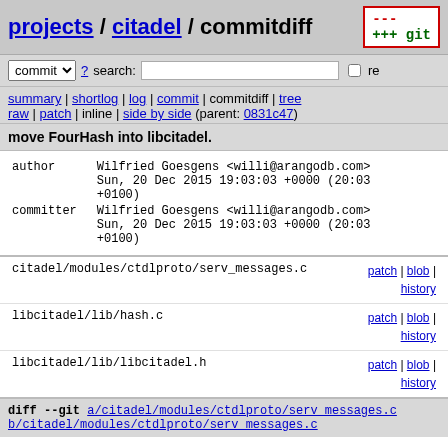projects / citadel / commitdiff
commit ? search: re
summary | shortlog | log | commit | commitdiff | tree
raw | patch | inline | side by side (parent: 0831c47)
move FourHash into libcitadel.
author    Wilfried Goesgens <willi@arangodb.com>
          Sun, 20 Dec 2015 19:03:03 +0000 (20:03 +0100)
committer Wilfried Goesgens <willi@arangodb.com>
          Sun, 20 Dec 2015 19:03:03 +0000 (20:03 +0100)
| File | Actions |
| --- | --- |
| citadel/modules/ctdlproto/serv_messages.c | patch | blob | history |
| libcitadel/lib/hash.c | patch | blob | history |
| libcitadel/lib/libcitadel.h | patch | blob | history |
diff --git a/citadel/modules/ctdlproto/serv messages.c b/citadel/modules/ctdlproto/serv messages.c